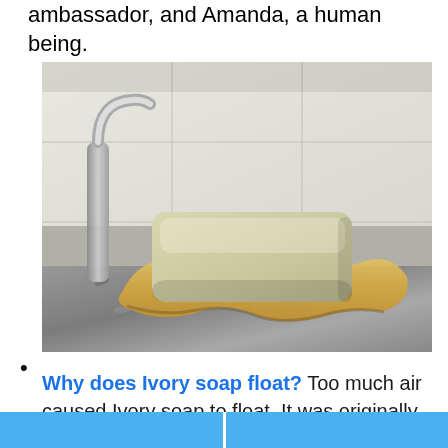ambassador, and Amanda, a human being.
[Figure (photo): A bar of ivory/cream colored soap sitting on a wavy ceramic soap dish on a granite countertop, with a faucet in the background.]
Why does Ivory soap float? Too much air caused Ivory soap to float. It was originally an error in production. In 1878, Harley Procter and cousin James Gamble decided to create for their company a white soap that...